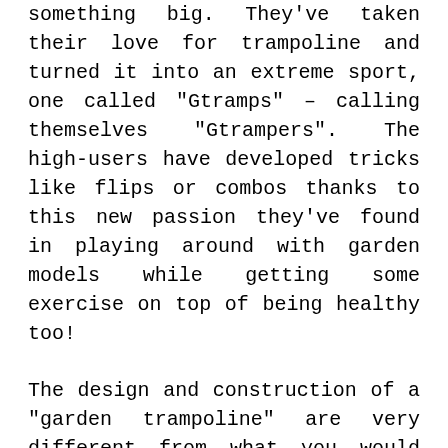something big. They've taken their love for trampoline and turned it into an extreme sport, one called “Gtramps” – calling themselves “Gtrampers”. The high-users have developed tricks like flips or combos thanks to this new passion they've found in playing around with garden models while getting some exercise on top of being healthy too!
The design and construction of a “garden trampoline” are very different from what you would find in an actual gym. Most trampolines only have the design structure to withstand light use. Gtrampers need more than just good bounce, and they also must be able to